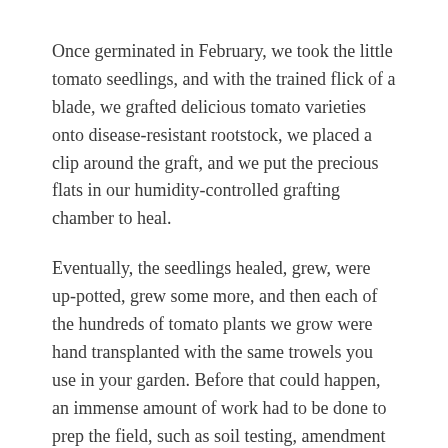Once germinated in February, we took the little tomato seedlings, and with the trained flick of a blade, we grafted delicious tomato varieties onto disease-resistant rootstock, we placed a clip around the graft, and we put the precious flats in our humidity-controlled grafting chamber to heal.
Eventually, the seedlings healed, grew, were up-potted, grew some more, and then each of the hundreds of tomato plants we grow were hand transplanted with the same trowels you use in your garden. Before that could happen, an immense amount of work had to be done to prep the field, such as soil testing, amendment applications, tillage, irrigation installation, plastic mulch installation, trellis setup, & so much more.
Once in the ground those little tomato babes grew grew grew, and we walked through every row for months, pruning suckers off each plant and trellising what remained as the vines tried to